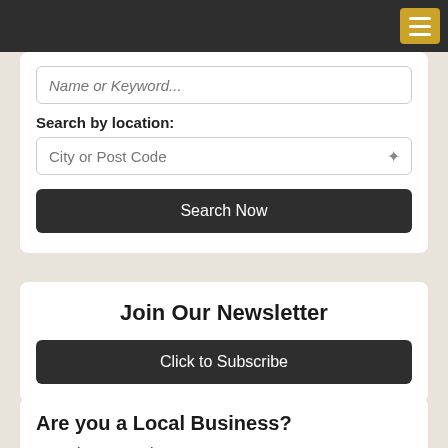Navigation bar with hamburger menu
Name or Keyword (input field)
Search by location:
City or Post Code (input field)
Search Now
Join Our Newsletter
Click to Subscribe
Are you a Local Business?
1. Register a member account
2. Create a searchable listing